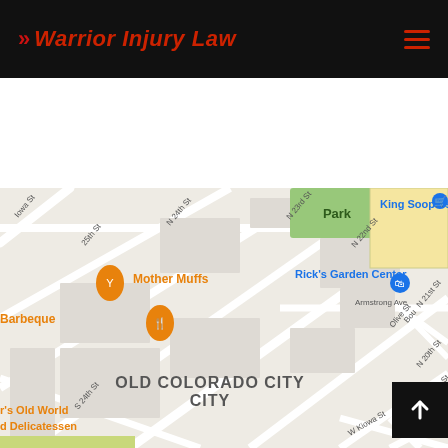>> Warrior Injury Law
[Figure (map): Google Maps screenshot showing Old Colorado City neighborhood in Colorado Springs, CO. Streets visible include N 24th St, N 23rd St, N 22nd St, N 21st St, N 20th St, N 19th St, S 24th St, W Kiowa St, Armstrong Ave, Olive St, Bou... St. Points of interest visible: Mother Muffs (orange pin), Barbeque (orange pin), Rick's Garden Center (blue pin), King Soopers (blue shopping cart icon), Wes... Com... (teal pin). Park area shown in green top center. 'OLD COLORADO CITY' label shown in the lower center.]